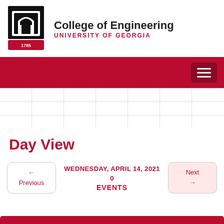College of Engineering — UNIVERSITY OF GEORGIA
[Figure (logo): UGA College of Engineering logo with arch and 1785 shield]
Day View
← Previous   WEDNESDAY, APRIL 14, 2021 0 EVENTS   Next →